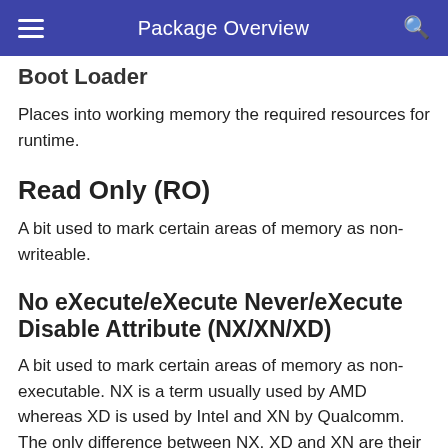Package Overview
Boot Loader
Places into working memory the required resources for runtime.
Read Only (RO)
A bit used to mark certain areas of memory as non-writeable.
No eXecute/eXecute Never/eXecute Disable Attribute (NX/XN/XD)
A bit used to mark certain areas of memory as non-executable. NX is a term usually used by AMD whereas XD is used by Intel and XN by Qualcomm. The only difference between NX, XD and XN are their...